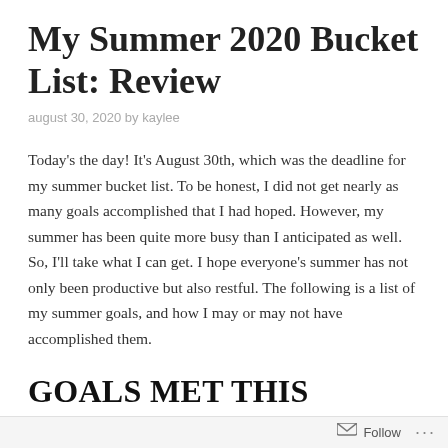My Summer 2020 Bucket List: Review
august 30, 2020 by kaylee
Today's the day! It's August 30th, which was the deadline for my summer bucket list. To be honest, I did not get nearly as many goals accomplished that I had hoped. However, my summer has been quite more busy than I anticipated as well. So, I'll take what I can get. I hope everyone's summer has not only been productive but also restful. The following is a list of my summer goals, and how I may or may not have accomplished them.
GOALS MET THIS SUMMER
Follow …